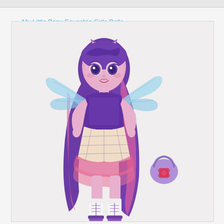My Little Pony Equestria Girls Dolls
[Figure (photo): My Little Pony Equestria Girls doll — Twilight Sparkle character with long purple and pink hair, sparkly purple strapless top, plaid skirt with pink tulle ruffle, white knee-high boots with purple accents, glittery butterfly/fairy wings, small purple ears on head, and a small purple round purse/bag accessory with red flower, displayed against a light gray background.]